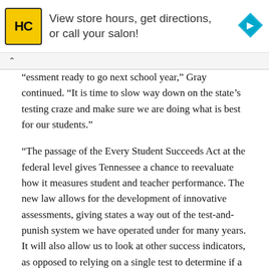[Figure (other): Advertisement banner for Hair Club (HC) salon — yellow square logo with HC text, advertisement text 'View store hours, get directions, or call your salon!', and a blue diamond navigation icon on the right.]
“essment ready to go next school year,” Gray continued. “It is time to slow way down on the state’s testing craze and make sure we are doing what is best for our students.”
“The passage of the Every Student Succeeds Act at the federal level gives Tennessee a chance to reevaluate how it measures student and teacher performance. The new law allows for the development of innovative assessments, giving states a way out of the test-and-punish system we have operated under for many years. It will also allow us to look at other success indicators, as opposed to relying on a single test to determine if a school is meeting students’ needs.”